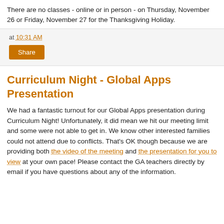There are no classes - online or in person - on Thursday, November 26 or Friday, November 27 for the Thanksgiving Holiday.
at 10:31 AM
Share
Curriculum Night - Global Apps Presentation
We had a fantastic turnout for our Global Apps presentation during Curriculum Night! Unfortunately, it did mean we hit our meeting limit and some were not able to get in. We know other interested families could not attend due to conflicts. That's OK though because we are providing both the video of the meeting and the presentation for you to view at your own pace! Please contact the GA teachers directly by email if you have questions about any of the information.